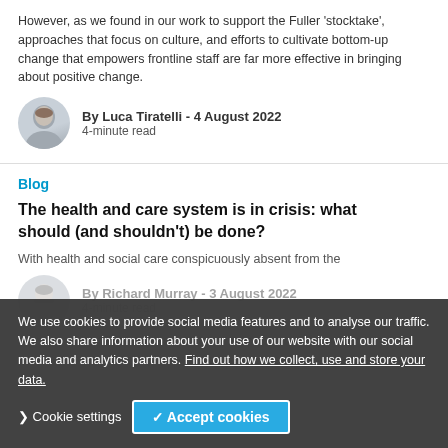However, as we found in our work to support the Fuller 'stocktake', approaches that focus on culture, and efforts to cultivate bottom-up change that empowers frontline staff are far more effective in bringing about positive change.
By Luca Tiratelli - 4 August 2022
4-minute read
Blog
The health and care system is in crisis: what should (and shouldn't) be done?
With health and social care conspicuously absent from the
We use cookies to provide social media features and to analyse our traffic. We also share information about your use of our website with our social media and analytics partners. Find out how we collect, use and store your data.
By Richard Murray - 3 August 2022
4-minute read